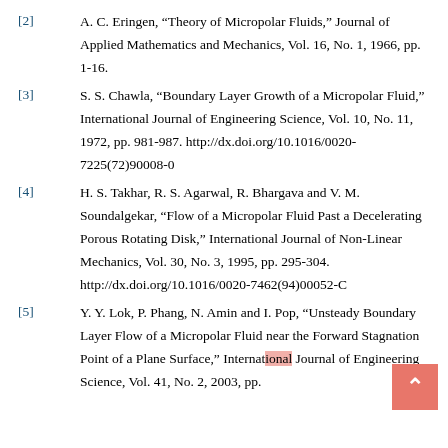[2] A. C. Eringen, “Theory of Micropolar Fluids,” Journal of Applied Mathematics and Mechanics, Vol. 16, No. 1, 1966, pp. 1-16.
[3] S. S. Chawla, “Boundary Layer Growth of a Micropolar Fluid,” International Journal of Engineering Science, Vol. 10, No. 11, 1972, pp. 981-987. http://dx.doi.org/10.1016/0020-7225(72)90008-0
[4] H. S. Takhar, R. S. Agarwal, R. Bhargava and V. M. Soundalgekar, “Flow of a Micropolar Fluid Past a Decelerating Porous Rotating Disk,” International Journal of Non-Linear Mechanics, Vol. 30, No. 3, 1995, pp. 295-304. http://dx.doi.org/10.1016/0020-7462(94)00052-C
[5] Y. Y. Lok, P. Phang, N. Amin and I. Pop, “Unsteady Boundary Layer Flow of a Micropolar Fluid near the Forward Stagnation Point of a Plane Surface,” International Journal of Engineering Science, Vol. 41, No. 2, 2003, pp.